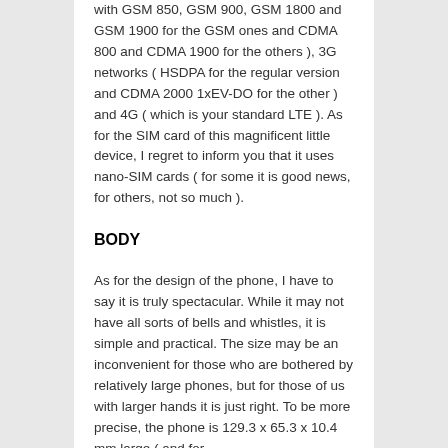with GSM 850, GSM 900, GSM 1800 and GSM 1900 for the GSM ones and CDMA 800 and CDMA 1900 for the others ), 3G networks ( HSDPA for the regular version and CDMA 2000 1xEV-DO for the other ) and 4G ( which is your standard LTE ). As for the SIM card of this magnificent little device, I regret to inform you that it uses nano-SIM cards ( for some it is good news, for others, not so much ).
BODY
As for the design of the phone, I have to say it is truly spectacular. While it may not have all sorts of bells and whistles, it is simple and practical. The size may be an inconvenient for those who are bothered by relatively large phones, but for those of us with larger hands it is just right. To be more precise, the phone is 129.3 x 65.3 x 10.4 mm large ( and for